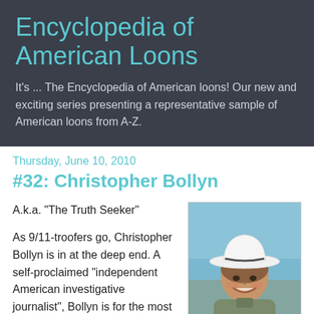Encyclopedia of American Loons
It's ... The Encyclopedia of American loons! Our new and exciting series presenting a representative sample of American loons from A-Z.
Thursday, June 10, 2010
#32: Christopher Bollyn
A.k.a. "The Truth Seeker"
[Figure (photo): Photo of a man wearing a white cowboy hat, smiling, outdoors with blue sky background.]
As 9/11-troofers go, Christopher Bollyn is in at the deep end. A self-proclaimed “independent American investigative journalist”, Bollyn is for the most part a contributor to the despicable cesspool of lunacy